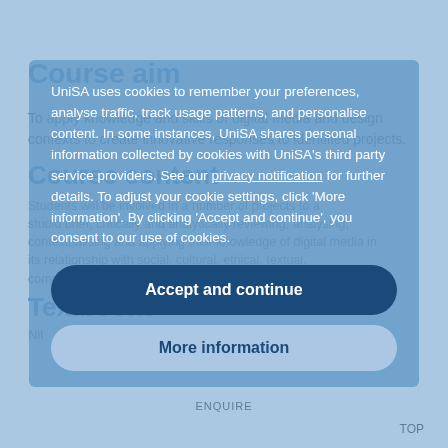Course aim
To apply knowledge and skills of digital media and design contexts to create innovative responses to identified projects.
Course content
Students will be involved in a number of projects to a studio brief, critically and analytically reviewing, analysing, contextualising and applying their knowledge of digital media in its relationship with social, cultural, ethical, textual, commercial and environmental considerations
Textbooks
Nil
UniSA uses cookies to remember your preferences, analyse traffic, track usage patterns, and personalise content. In some instances, UniSA shares personal information collected by cookies with UniSA's third party service providers. See our privacy notification for further details. To adjust your cookie settings, click 'More information'. By clicking 'Accept and continue', you consent to our use of cookies.
Accept and continue
More information